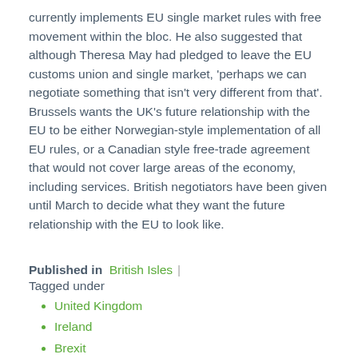currently implements EU single market rules with free movement within the bloc. He also suggested that although Theresa May had pledged to leave the EU customs union and single market, 'perhaps we can negotiate something that isn't very different from that'. Brussels wants the UK's future relationship with the EU to be either Norwegian-style implementation of all EU rules, or a Canadian style free-trade agreement that would not cover large areas of the economy, including services. British negotiators have been given until March to decide what they want the future relationship with the EU to look like.
Published in  British Isles  | Tagged under
United Kingdom
Ireland
Brexit